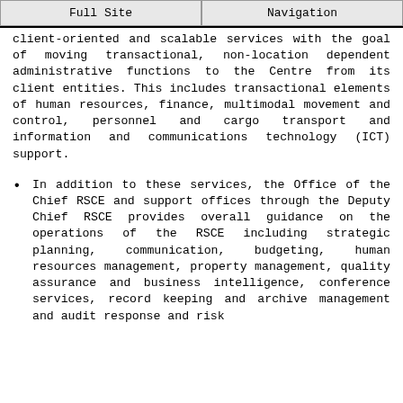Full Site | Navigation
client-oriented and scalable services with the goal of moving transactional, non-location dependent administrative functions to the Centre from its client entities. This includes transactional elements of human resources, finance, multimodal movement and control, personnel and cargo transport and information and communications technology (ICT) support.
In addition to these services, the Office of the Chief RSCE and support offices through the Deputy Chief RSCE provides overall guidance on the operations of the RSCE including strategic planning, communication, budgeting, human resources management, property management, quality assurance and business intelligence, conference services, record keeping and archive management and audit response and risk